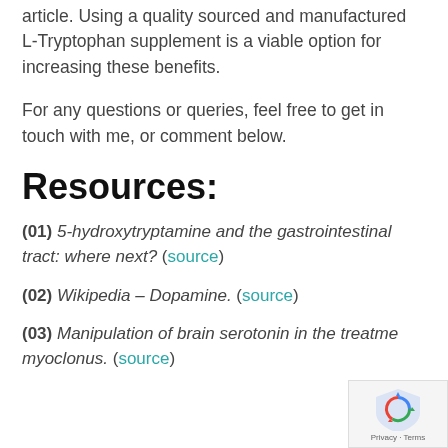article. Using a quality sourced and manufactured L-Tryptophan supplement is a viable option for increasing these benefits.
For any questions or queries, feel free to get in touch with me, or comment below.
Resources:
(01) 5-hydroxytryptamine and the gastrointestinal tract: where next? (source)
(02) Wikipedia – Dopamine. (source)
(03) Manipulation of brain serotonin in the treatment of myoclonus. (source)